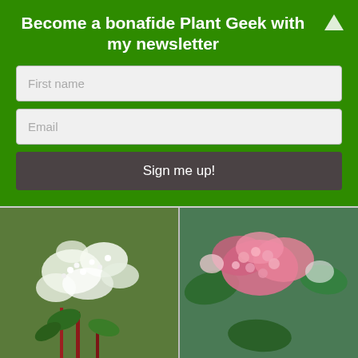Become a bonafide Plant Geek with my newsletter
[Figure (screenshot): Newsletter signup form with First name field, Email field, and Sign me up! button on green background]
[Figure (photo): Two side-by-side photos of flowering plants: left shows white blooms, right shows pink blooms on shrub, likely Pinky Winky hydrangea]
Pinky Winky will produce long spikes of blooms throughout summer and autumn, which start off white and then change to pink giving a beautiful two-tone effect. Boasting stunning red stems that will add to the overall effect